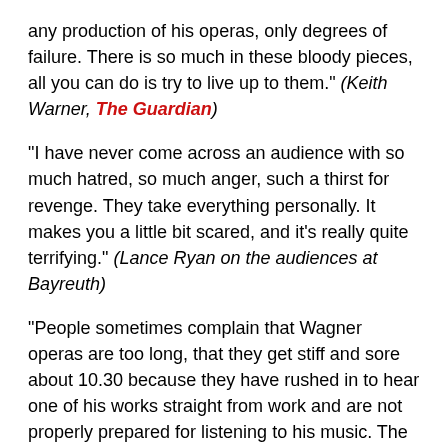any production of his operas, only degrees of failure. There is so much in these bloody pieces, all you can do is try to live up to them." (Keith Warner, The Guardian)
"I have never come across an audience with so much hatred, so much anger, such a thirst for revenge. They take everything personally. It makes you a little bit scared, and it's really quite terrifying." (Lance Ryan on the audiences at Bayreuth)
"People sometimes complain that Wagner operas are too long, that they get stiff and sore about 10.30 because they have rushed in to hear one of his works straight from work and are not properly prepared for listening to his music. The audience, as much as the artists, must be prepared for a performance." (Benjamin Britten to Alan Blyth, Gramophone)
"I was bowled over. It was the year after Wieland Wagner had died; to be able to see his productions was a total knock-out. These bare stagings, where everything was done with lighting. The light changed with the music, and the shadows and patterns